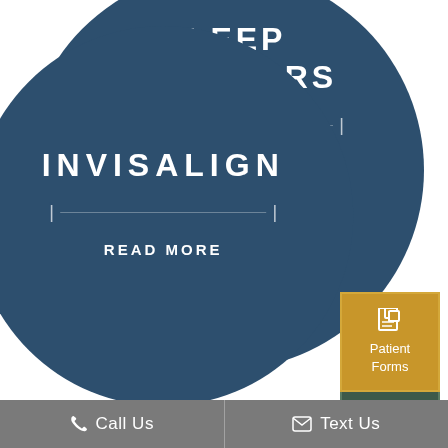[Figure (illustration): Large dark blue circle button with 'SLEEP DISORDERS' text and 'READ MORE' label, centered at top of page]
[Figure (illustration): Large dark blue circle button with 'INVISALIGN' text and 'READ MORE' label, centered-left at bottom of page]
[Figure (illustration): Dark green square button labeled 'Current Patient Login' on right side]
[Figure (illustration): Gold/yellow square button with document icon labeled 'Patient Forms' on right side]
Call Us
Text Us